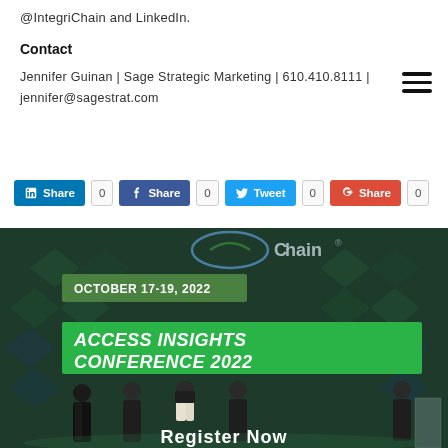@IntegriChain and LinkedIn.
Contact
Jennifer Guinan | Sage Strategic Marketing | 610.410.8111 | jennifer@sagestrat.com
[Figure (infographic): Social share buttons: LinkedIn Share 0, Facebook Share 0, Twitter Tweet 0, Google+ Share 0]
[Figure (photo): Conference stage photo with IntegriChain logo, green banner showing OCTOBER 17-19, 2022, green banner reading ACCESS INSIGHTS CONFERENCE 2022, and Register Now text at bottom]